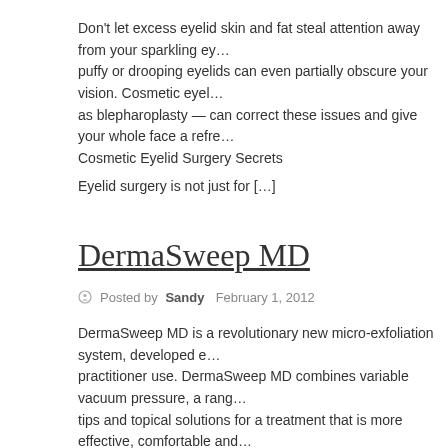Don't let excess eyelid skin and fat steal attention away from your sparkling eyes — puffy or drooping eyelids can even partially obscure your vision. Cosmetic eyelid surgery — also known as blepharoplasty — can correct these issues and give your whole face a refreshed look. Cosmetic Eyelid Surgery Secrets
Eyelid surgery is not just for […]
DermaSweep MD
Posted by Sandy  February 1, 2012
DermaSweep MD is a revolutionary new micro-exfoliation system, developed exclusively for practitioner use. DermaSweep MD combines variable vacuum pressure, a range of bristle tips and topical solutions for a treatment that is more effective, comfortable and customisable than ever before.
Using the DermaSweep, treatments can now be fully customised, depending o… […]
VyGone Zapper